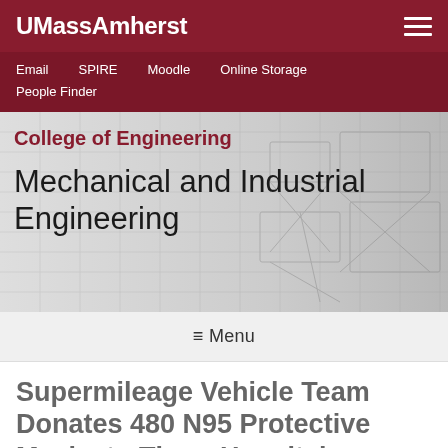UMassAmherst
Email  SPIRE  Moodle  Online Storage  People Finder
College of Engineering
Mechanical and Industrial Engineering
≡ Menu
Supermileage Vehicle Team Donates 480 N95 Protective Masks to Three Hospitals